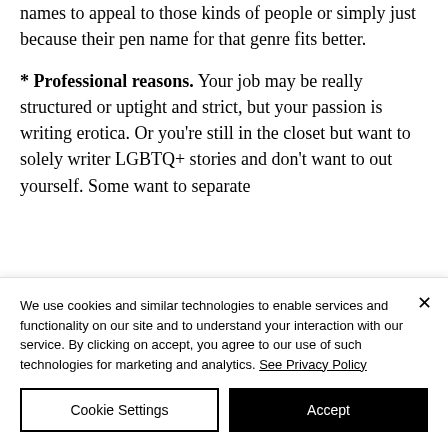names to appeal to those kinds of people or simply just because their pen name for that genre fits better.
* Professional reasons. Your job may be really structured or uptight and strict, but your passion is writing erotica. Or you're still in the closet but want to solely writer LGBTQ+ stories and don't want to out yourself. Some want to separate
We use cookies and similar technologies to enable services and functionality on our site and to understand your interaction with our service. By clicking on accept, you agree to our use of such technologies for marketing and analytics. See Privacy Policy